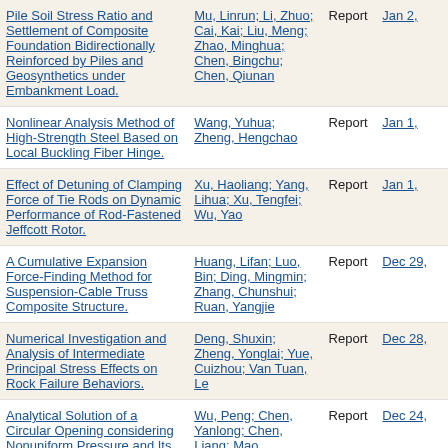| Title | Author(s) | Type | Date |
| --- | --- | --- | --- |
| Pile Soil Stress Ratio and Settlement of Composite Foundation Bidirectionally Reinforced by Piles and Geosynthetics under Embankment Load. | Mu, Linrun; Li, Zhuo; Cai, Kai; Liu, Meng; Zhao, Minghua; Chen, Bingchu; Chen, Qiunan | Report | Jan 2, |
| Nonlinear Analysis Method of High-Strength Steel Based on Local Buckling Fiber Hinge. | Wang, Yuhua; Zheng, Hengchao | Report | Jan 1, |
| Effect of Detuning of Clamping Force of Tie Rods on Dynamic Performance of Rod-Fastened Jeffcott Rotor. | Xu, Haoliang; Yang, Lihua; Xu, Tengfei; Wu, Yao | Report | Jan 1, |
| A Cumulative Expansion Force-Finding Method for Suspension-Cable Truss Composite Structure. | Huang, Lifan; Luo, Bin; Ding, Mingmin; Zhang, Chunshui; Ruan, Yangjie | Report | Dec 29, |
| Numerical Investigation and Analysis of Intermediate Principal Stress Effects on Rock Failure Behaviors. | Deng, Shuxin; Zheng, Yonglai; Yue, Cuizhou; Van Tuan, Le | Report | Dec 28, |
| Analytical Solution of a Circular Opening considering Nonuniform Pressure and Its Engineering Application. | Wu, Peng; Chen, Yanlong; Chen, Liang; Mao, Xianbiao; Zhang, Wei | Report | Dec 24, |